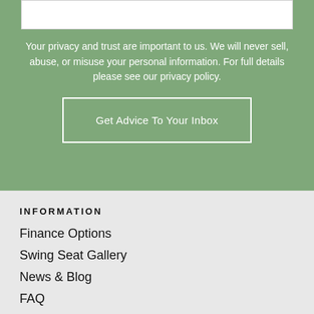Your privacy and trust are important to us. We will never sell, abuse, or misuse your personal information. For full details please see our privacy policy.
Get Advice To Your Inbox
INFORMATION
Finance Options
Swing Seat Gallery
News & Blog
FAQ